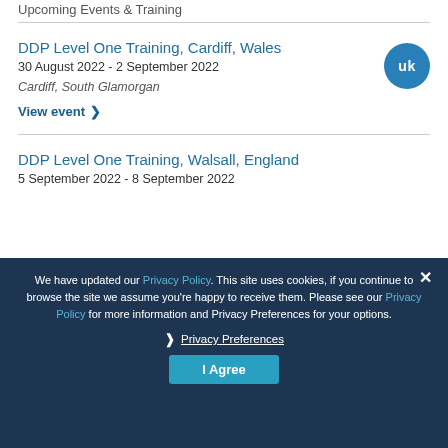Upcoming Events & Training
DDP Level One Training, Cardiff, Wales
30 August 2022 - 2 September 2022
Cardiff, South Glamorgan
View event
DDP Level One Training, Walsall, England
5 September 2022 - 8 September 2022
We have updated our Privacy Policy. This site uses cookies, if you continue to browse the site we assume you're happy to receive them. Please see our Privacy Policy for more information and Privacy Preferences for your options.
Privacy Preferences
I Agree